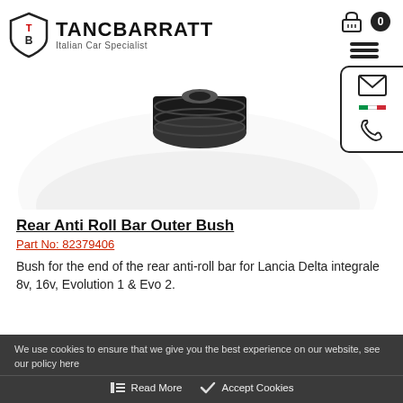TANCBARRATT Italian Car Specialist
[Figure (photo): Black rubber anti-roll bar outer bush component on white background]
Rear Anti Roll Bar Outer Bush
Part No: 82379406
Bush for the end of the rear anti-roll bar for Lancia Delta integrale 8v, 16v, Evolution 1 & Evo 2.
We use cookies to ensure that we give you the best experience on our website, see our policy here
Read More   Accept Cookies